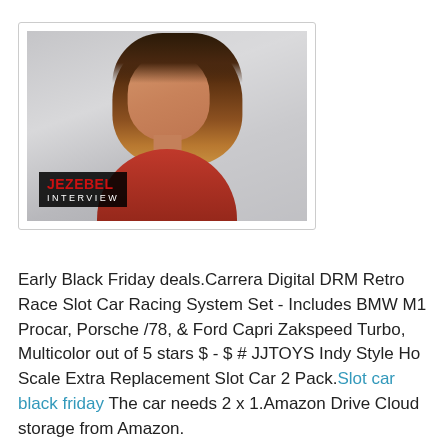[Figure (photo): Portrait photo of a woman with long brown/highlighted hair, wearing red, with a 'JEZEBEL INTERVIEW' logo overlay in the bottom-left corner of the image. The image is inside a bordered card.]
Early Black Friday deals.Carrera Digital DRM Retro Race Slot Car Racing System Set - Includes BMW M1 Procar, Porsche /78, & Ford Capri Zakspeed Turbo, Multicolor out of 5 stars $ - $ # JJTOYS Indy Style Ho Scale Extra Replacement Slot Car 2 Pack.Slot car black friday The car needs 2 x 1.Amazon Drive Cloud storage from Amazon.